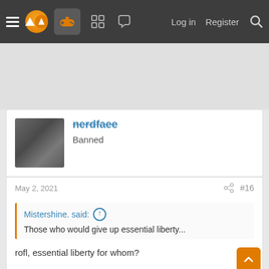[Figure (screenshot): Website navigation bar with hamburger menu, logo, gamepad icon button, forum icons, Log in, Register, and search links]
nerdfaee
Banned
May 2, 2021  #16
Mistershine. said: ↑
Those who would give up essential liberty...
rofl, essential liberty for whom?
One assholes 'essential liberty' to say the n word?...or all the other player's freedom not to be around your dumb ass.